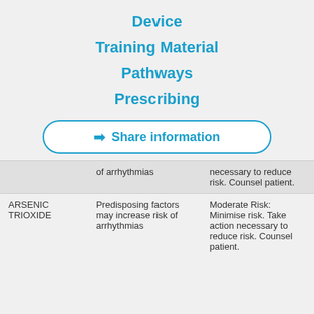Device
Training Material
Pathways
Prescribing
➡ Share information
|  | of arrhythmias | necessary to reduce risk. Counsel patient. |
| --- | --- | --- |
| ARSENIC TRIOXIDE | Predisposing factors may increase risk of arrhythmias | Moderate Risk: Minimise risk. Take action necessary to reduce risk. Counsel patient. |